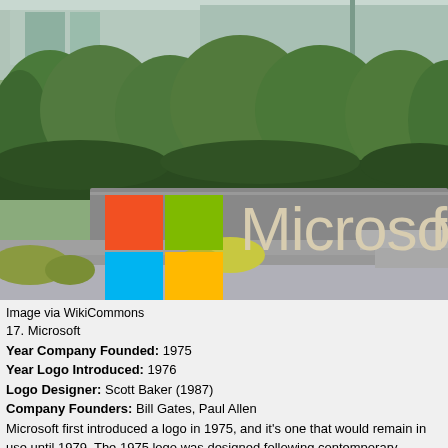[Figure (photo): Microsoft headquarters sign outdoors showing the Microsoft logo (four colored squares: red/orange top-left, green top-right, cyan/blue bottom-left, yellow/gold bottom-right) and the 'Microsoft' wordmark in large tan/cream letters, surrounded by green trees and shrubs, with a stone/concrete facade.]
Image via WikiCommons
17. Microsoft
Year Company Founded: 1975
Year Logo Introduced: 1976
Logo Designer: Scott Baker (1987)
Company Founders: Bill Gates, Paul Allen
Microsoft first introduced a logo in 1975, and it's one that would remain in use until 1979. The 1975 logo was designed following contemporary